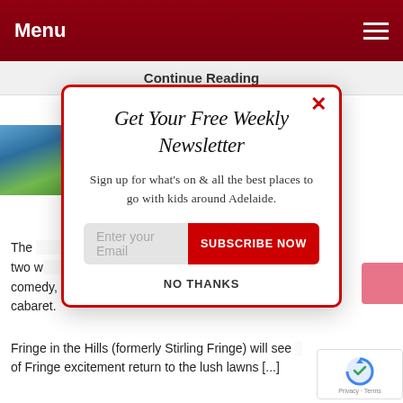Menu
Continue Reading
POWERED BY SUMO
[Figure (screenshot): Partial view of article with outdoor photo and red article title text]
Get Your Free Weekly Newsletter
Sign up for what's on & all the best places to go with kids around Adelaide.
Enter your Email  SUBSCRIBE NOW
NO THANKS
The [text obscured] two w[text obscured] comedy, magic, family friendly shows, musicians and cabaret.
Fringe in the Hills (formerly Stirling Fringe) will see a[obscured] of Fringe excitement return to the lush lawns [...]
[Figure (logo): reCAPTCHA badge with Privacy and Terms links]